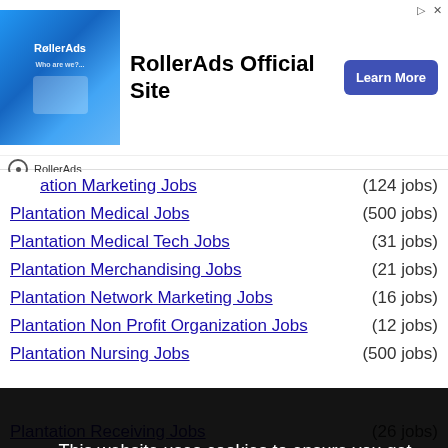[Figure (screenshot): RollerAds advertisement banner with blue background image on left, 'RollerAds Official Site' text in center, and 'Learn More' blue button on right. RollerAds logo and brand name shown below.]
ation Marketing Jobs (124 jobs)
Plantation Medical Jobs (500 jobs)
Plantation Medical Tech Jobs (31 jobs)
Plantation Merchandising Jobs (21 jobs)
Plantation Network Marketing Jobs (16 jobs)
Plantation Non Profit Organization Jobs (12 jobs)
Plantation Nursing Jobs (500 jobs)
This website uses cookies to ensure you get the best experience on our website. Learn more Got it!
Plantation Receiving Jobs (26 jobs)